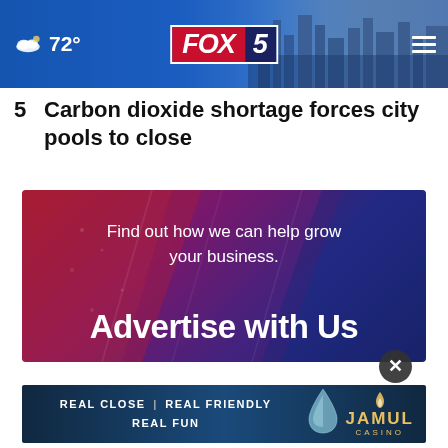FOX 5 | 72°
5  Carbon dioxide shortage forces city pools to close
[Figure (infographic): Advertisement banner with gradient red-purple-blue background and diagonal geometric shapes. Text reads: 'Find out how we can help grow your business.' and 'Advertise with Us' in large white letters.]
[Figure (infographic): Jamul Casino advertisement banner with dark blue background. Text: 'REAL CLOSE | REAL FRIENDLY REAL FUN' and 'JAMUL CASINO' logo with water drop icon.]